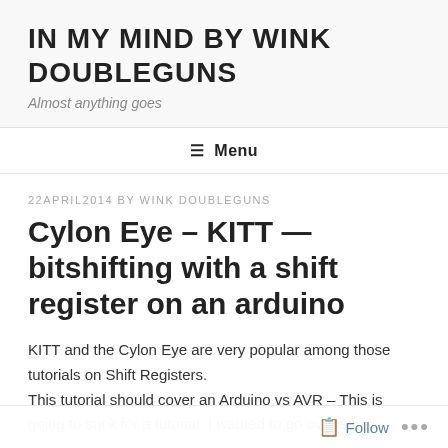IN MY MIND BY WINK DOUBLEGUNS
Almost anything goes
≡ Menu
22APRIL2014 BY WINK DOUBLEGUNS
Cylon Eye – KITT — bitshifting with a shift register on an arduino
KITT and the Cylon Eye are very popular among those tutorials on Shift Registers.
This tutorial should cover an Arduino vs AVR – This is going to suck for a tutorial. I wanted to go over some